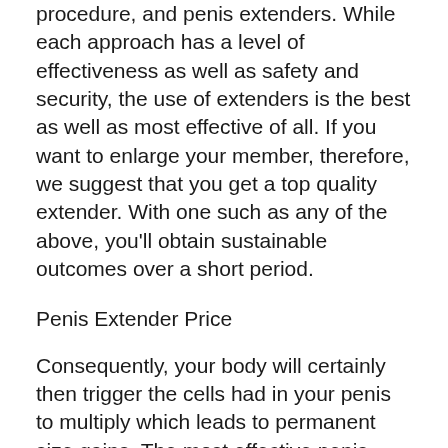procedure, and penis extenders. While each approach has a level of effectiveness as well as safety and security, the use of extenders is the best as well as most effective of all. If you want to enlarge your member, therefore, we suggest that you get a top quality extender. With one such as any of the above, you'll obtain sustainable outcomes over a short period.
Penis Extender Price
Consequently, your body will certainly then trigger the cells had in your penis to multiply which leads to permanent size gains. The most effective penis extenders on the marketplace use this concept to give their customers the fastest feasible results. The